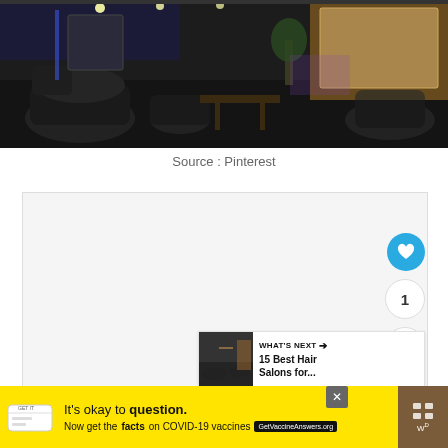[Figure (photo): Interior of a modern hair salon with dark walls, black styling chairs, illuminated product shelves, and purple/yellow accent lighting in the background.]
Source : Pinterest
[Figure (screenshot): White content area with social interaction buttons: a blue heart/like button, a count of 1, and a share button on the right side. A 'WHAT'S NEXT' panel showing a hair salon thumbnail and text '15 Best Hair Salons for...' Three navigation dots at the bottom.]
[Figure (infographic): Yellow advertisement banner at the bottom: 'It's okay to question. Now get the facts on COVID-19 vaccines' with GetVaccineAnswers.org button and a close X button.]